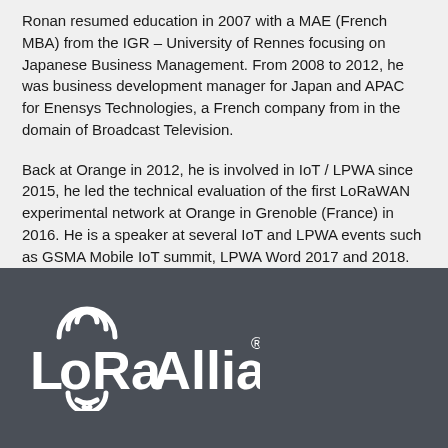Ronan resumed education in 2007 with a MAE (French MBA) from the IGR – University of Rennes focusing on Japanese Business Management. From 2008 to 2012, he was business development manager for Japan and APAC for Enensys Technologies, a French company from in the domain of Broadcast Television.
Back at Orange in 2012, he is involved in IoT / LPWA since 2015, he led the technical evaluation of the first LoRaWAN experimental network at Orange in Grenoble (France) in 2016. He is a speaker at several IoT and LPWA events such as GSMA Mobile IoT summit, LPWA Word 2017 and 2018.
[Figure (logo): LoRa Alliance logo in white on dark grey background]